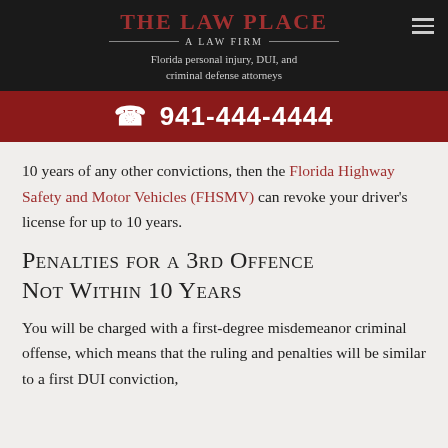THE LAW PLACE — A LAW FIRM
Florida personal injury, DUI, and criminal defense attorneys
☎ 941-444-4444
10 years of any other convictions, then the Florida Highway Safety and Motor Vehicles (FHSMV) can revoke your driver's license for up to 10 years.
Penalties for a 3rd Offence Not Within 10 Years
You will be charged with a first-degree misdemeanor criminal offense, which means that the ruling and penalties will be similar to a first DUI conviction,